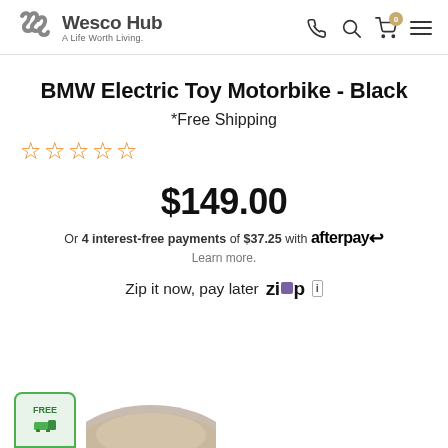Wesco Hub — A Life Worth Living.
BMW Electric Toy Motorbike - Black
*Free Shipping
[Figure (other): Five outlined star rating icons in orange]
$149.00
Or 4 interest-free payments of $37.25 with afterpay
Learn more.
Zip it now, pay later
[Figure (logo): Partial product image of motorbike at bottom of page with free shipping badge]